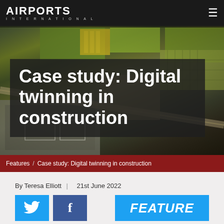AIRPORTS INTERNATIONAL
[Figure (photo): Aerial view of airport construction site with green fields, parking areas, and terminal buildings visible from above]
Case study: Digital twinning in construction
Features / Case study: Digital twinning in construction
By Teresa Elliott | 21st June 2022
[Figure (other): Twitter share button (blue), Facebook share button (dark blue), and FEATURE button (cyan blue)]